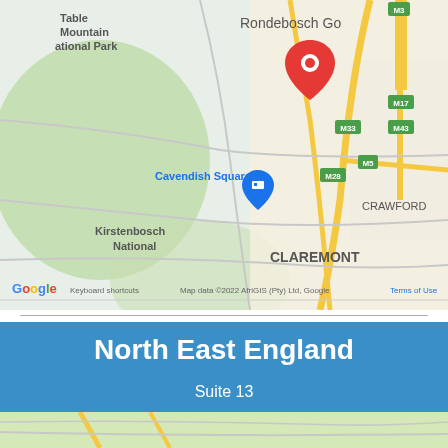[Figure (map): Google Maps view showing Rondebosch/Claremont area in Cape Town, South Africa. Shows Table Mountain National Park, Cavendish Square, Kirstenbosch National, with a red pin marker, road routes M3, M5, M17, M28, M33, M43, areas including RONDEBOSCH, ATHLONE, CRAWFORD, CLAREMONT. Map data ©2022 AfriGIS (Pty) Ltd, Google.]
North East England
Suite 13
E-Volve Business Centre
County Durham
DH4 5QY
T 0191 5007890
[Figure (map): Partial Google Maps view at the bottom of the page, cropped.]